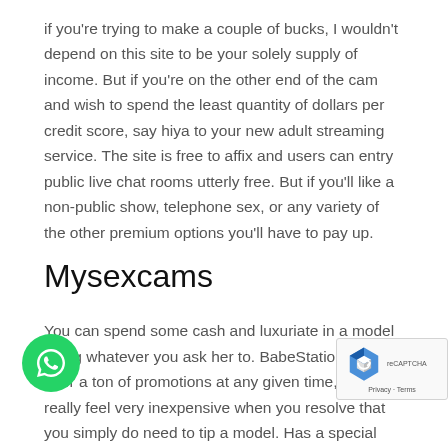if you're trying to make a couple of bucks, I wouldn't depend on this site to be your solely supply of income. But if you're on the other end of the cam and wish to spend the least quantity of dollars per credit score, say hiya to your new adult streaming service. The site is free to affix and users can entry public live chat rooms utterly free. But if you'll like a non-public show, telephone sex, or any variety of the other premium options you'll have to pay up.
Mysexcams
You can spend some cash and luxuriate in a model doing whatever you ask her to. BabeStation does offer a ton of promotions at any given time, making it really feel very inexpensive when you resolve that you simply do need to tip a model. Has a special flow and feel to it identical to